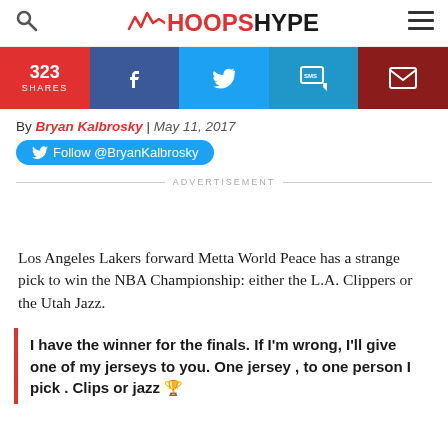HOOPSHYPE
[Figure (infographic): Social share bar with 323 SHARES (red), Facebook (blue), Twitter (light blue), SMS (blue), Email (dark red) buttons]
By Bryan Kalbrosky | May 11, 2017
Follow @BryanKalbrosky
ADVERTISEMENT
Los Angeles Lakers forward Metta World Peace has a strange pick to win the NBA Championship: either the L.A. Clippers or the Utah Jazz.
I have the winner for the finals. If I'm wrong, I'll give one of my jerseys to you. One jersey , to one person I pick . Clips or jazz 🏆